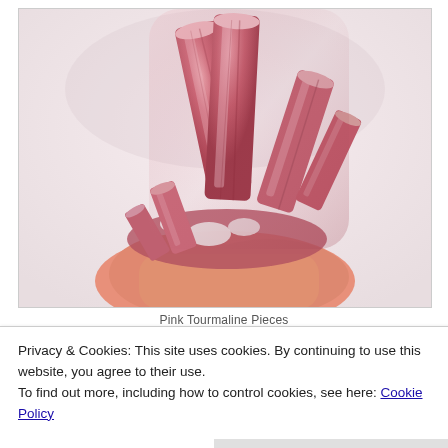[Figure (photo): A hand holding a cluster of large pink-red tourmaline (Rubelite) crystals against a light background. The crystals are elongated, columnar, and translucent with a deep rose-pink to red color.]
Pink Tourmaline Pieces
Privacy & Cookies: This site uses cookies. By continuing to use this website, you agree to their use.
To find out more, including how to control cookies, see here: Cookie Policy
Close and accept
enhance creative efforts. Red Tourmaline (Rubelite)